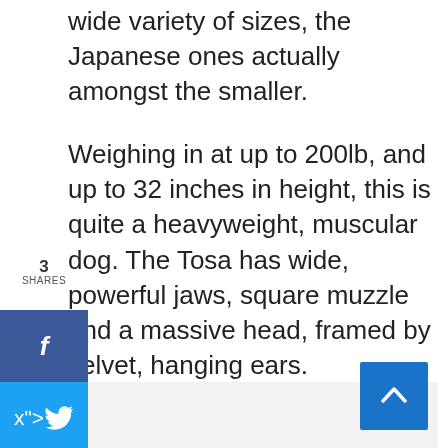wide variety of sizes, the Japanese ones actually amongst the smaller.
Weighing in at up to 200lb, and up to 32 inches in height, this is quite a heavyweight, muscular dog. The Tosa has wide, powerful jaws, square muzzle and a massive head, framed by velvet, hanging ears.
[Figure (other): Light gray placeholder image area in lower portion of page]
[Figure (other): Blue scroll-to-top button with upward arrow chevron in bottom right corner]